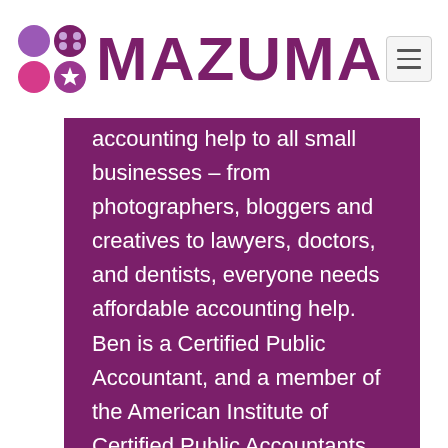MAZUMA
accounting help to all small businesses – from photographers, bloggers and creatives to lawyers, doctors, and dentists, everyone needs affordable accounting help. Ben is a Certified Public Accountant, and a member of the American Institute of Certified Public Accountants. But Ben considers his greatest achievement and credential to be his happy wife and four children.